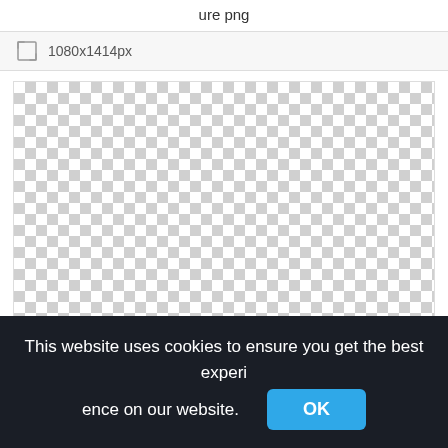ure png
1080x1414px
[Figure (other): Transparent PNG preview area shown as a grey checkerboard pattern indicating transparency]
This website uses cookies to ensure you get the best experience on our website.
OK